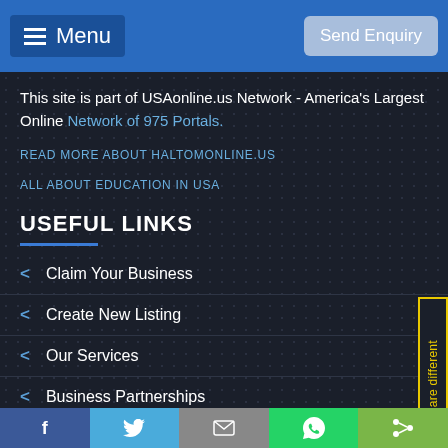Menu | Send Enquiry
This site is part of USAonline.us Network - America's Largest Online Network of 975 Portals.
READ MORE ABOUT HALTOMONLINE.US
ALL ABOUT EDUCATION IN USA
USEFUL LINKS
Claim Your Business
Create New Listing
Our Services
Business Partnerships
Facebook | Twitter | Mail | WhatsApp | Share